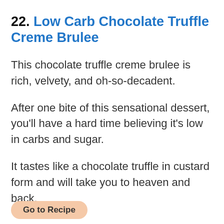22. Low Carb Chocolate Truffle Creme Brulee
This chocolate truffle creme brulee is rich, velvety, and oh-so-decadent.
After one bite of this sensational dessert, you'll have a hard time believing it's low in carbs and sugar.
It tastes like a chocolate truffle in custard form and will take you to heaven and back.